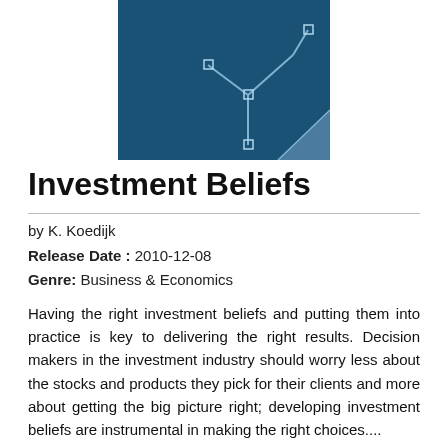[Figure (illustration): Book cover image with dark blue background showing a branching decision tree diagram with small squares at nodes and a page-curl effect in the lower right corner]
Investment Beliefs
by K. Koedijk
Release Date : 2010-12-08
Genre: Business & Economics
Having the right investment beliefs and putting them into practice is key to delivering the right results. Decision makers in the investment industry should worry less about the stocks and products they pick for their clients and more about getting the big picture right; developing investment beliefs are instrumental in making the right choices....